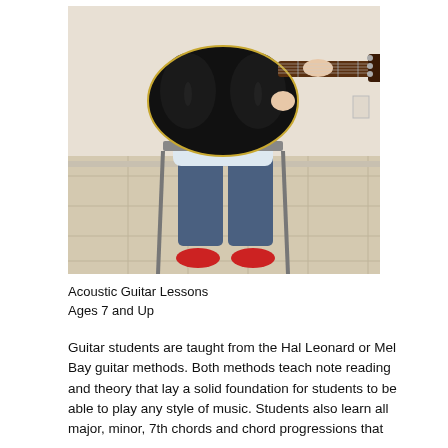[Figure (photo): A young person sitting on a folding chair holding a black electric guitar (semi-hollow body), wearing a white shirt, jeans, and red sneakers. The setting appears to be a tiled floor room with a light-colored wall in the background.]
Acoustic Guitar Lessons
Ages 7 and Up
Guitar students are taught from the Hal Leonard or Mel Bay guitar methods. Both methods teach note reading and theory that lay a solid foundation for students to be able to play any style of music. Students also learn all major, minor, 7th chords and chord progressions that